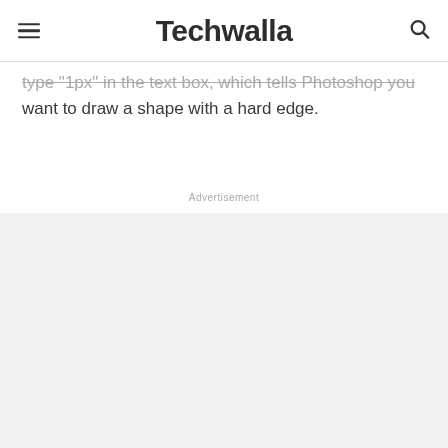Techwalla
Type “1px” in the text box, which tells Photoshop you want to draw a shape with a hard edge.
Advertisement